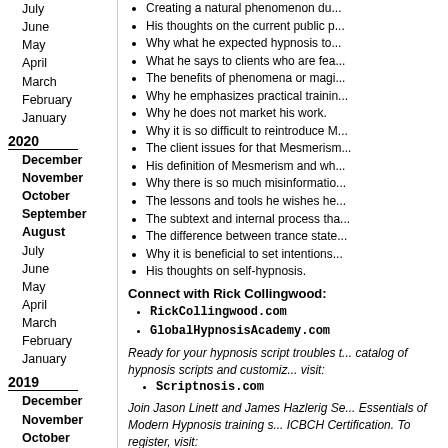July
June
May
April
March
February
January
2020
December
November
October
September
August
July
June
May
April
March
February
January
2019
December
November
October
September
August
July
June
May
April
Creating a natural phenomenon du...
His thoughts on the current public p...
Why what he expected hypnosis to...
What he says to clients who are fea...
The benefits of phenomena or magi...
Why he emphasizes practical trainin...
Why he does not market his work.
Why it is so difficult to reintroduce M...
The client issues for that Mesmerism...
His definition of Mesmerism and wh...
Why there is so much misinformatio...
The lessons and tools he wishes he...
The subtext and internal process tha...
The difference between trance state...
Why it is beneficial to set intentions...
His thoughts on self-hypnosis.
Connect with Rick Collingwood:
RickCollingwood.com
GlobalHypnosisAcademy.com
Ready for your hypnosis script troubles t... catalog of hypnosis scripts and customiz... visit:
Scriptnosis.com
Join Jason Linett and James Hazlerig Se... Essentials of Modern Hypnosis training s... ICBCH Certification. To register, visit:
HypnoticEssentials.com